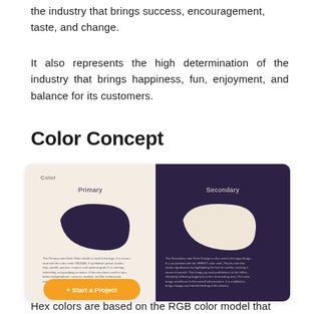the industry that brings success, encouragement, taste, and change.
It also represents the high determination of the industry that brings happiness, fun, enjoyment, and balance for its customers.
Color Concept
[Figure (infographic): Color concept panel showing Primary (dark violet) and Secondary (peach/cream) colors with leaf/petal shapes, color descriptions, and a Start a Project button.]
Hex colors are based on the RGB color model that